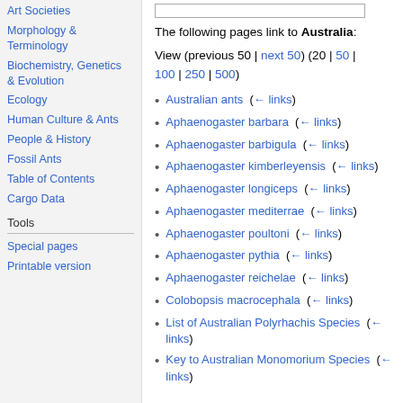Art Societies
Morphology & Terminology
Biochemistry, Genetics & Evolution
Ecology
Human Culture & Ants
People & History
Fossil Ants
Table of Contents
Cargo Data
Tools
Special pages
Printable version
The following pages link to Australia:
View (previous 50 | next 50) (20 | 50 | 100 | 250 | 500)
Australian ants  (← links)
Aphaenogaster barbara  (← links)
Aphaenogaster barbigula  (← links)
Aphaenogaster kimberleyensis  (← links)
Aphaenogaster longiceps  (← links)
Aphaenogaster mediterrae  (← links)
Aphaenogaster poultoni  (← links)
Aphaenogaster pythia  (← links)
Aphaenogaster reichelae  (← links)
Colobopsis macrocephala  (← links)
List of Australian Polyrhachis Species  (← links)
Key to Australian Monomorium Species  (← links)